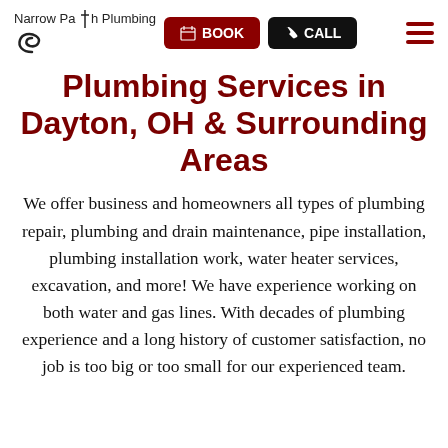Narrow Path Plumbing | BOOK | CALL
Plumbing Services in Dayton, OH & Surrounding Areas
We offer business and homeowners all types of plumbing repair, plumbing and drain maintenance, pipe installation, plumbing installation work, water heater services, excavation, and more! We have experience working on both water and gas lines. With decades of plumbing experience and a long history of customer satisfaction, no job is too big or too small for our experienced team.